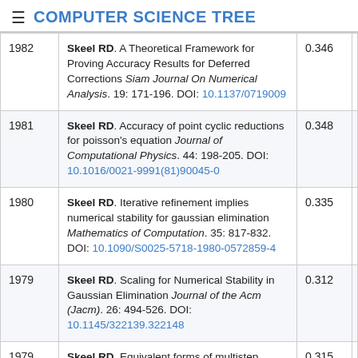COMPUTER SCIENCE TREE
| Year | Reference | Score |
| --- | --- | --- |
| 1982 | Skeel RD. A Theoretical Framework for Proving Accuracy Results for Deferred Corrections Siam Journal On Numerical Analysis. 19: 171-196. DOI: 10.1137/0719009 | 0.346 |
| 1981 | Skeel RD. Accuracy of point cyclic reductions for poisson's equation Journal of Computational Physics. 44: 198-205. DOI: 10.1016/0021-9991(81)90045-0 | 0.348 |
| 1980 | Skeel RD. Iterative refinement implies numerical stability for gaussian elimination Mathematics of Computation. 35: 817-832. DOI: 10.1090/S0025-5718-1980-0572859-4 | 0.335 |
| 1979 | Skeel RD. Scaling for Numerical Stability in Gaussian Elimination Journal of the Acm (Jacm). 26: 494-526. DOI: 10.1145/322139.322148 | 0.312 |
| 1979 | Skeel RD. Equivalent forms of multistep formulas | 0.315 |